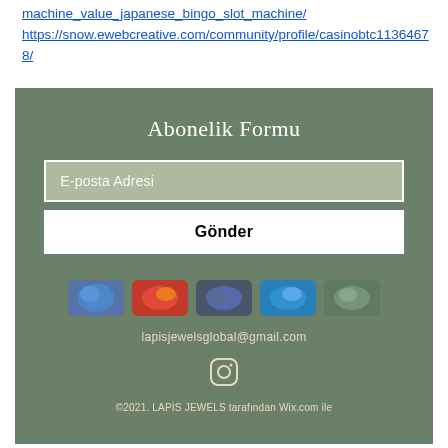machine_value_japanese_bingo_slot_machine/ https://snow.ewebcreative.com/community/profile/casinobtc11364678/
[Figure (screenshot): Green subscription form section with email input, send button, social media icons, email address lapisjewelsglobal@gmail.com, Instagram icon, and copyright notice]
lapisjewelsglobal@gmail.com
©2021. LAPİS JEWELS tarafından Wix.com ile